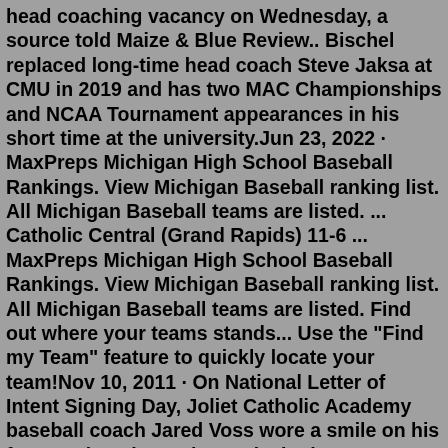head coaching vacancy on Wednesday, a source told Maize & Blue Review.. Bischel replaced long-time head coach Steve Jaksa at CMU in 2019 and has two MAC Championships and NCAA Tournament appearances in his short time at the university.Jun 23, 2022 · MaxPreps Michigan High School Baseball Rankings. View Michigan Baseball ranking list. All Michigan Baseball teams are listed. ... Catholic Central (Grand Rapids) 11-6 ... MaxPreps Michigan High School Baseball Rankings. View Michigan Baseball ranking list. All Michigan Baseball teams are listed. Find out where your teams stands... Use the "Find my Team" feature to quickly locate your team!Nov 10, 2011 · On National Letter of Intent Signing Day, Joliet Catholic Academy baseball coach Jared Voss wore a smile on his face Wednesday as he spoke in that manner about seniors Kevin Duchene and Adam Collins. And for good reason. While Duchene confirmed his commitment to the University of Illinois, Collins signed for Central Michigan. Jun 05, 2022 · June 5, 2022 10:57 am ET. After losing to